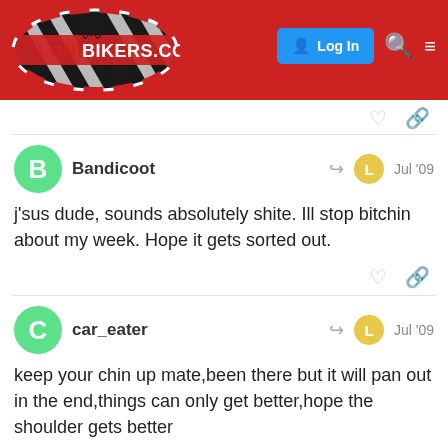[Figure (screenshot): LondonBikers.com website header with logo, Log In button, search icon, and menu icon on red background]
Bandicoot
Jul '09
j'sus dude, sounds absolutely shite. Ill stop bitchin about my week. Hope it gets sorted out.
car_eater
Jul '09
keep your chin up mate,been there but it will pan out in the end,things can only get better,hope the shoulder gets better
2 / 11